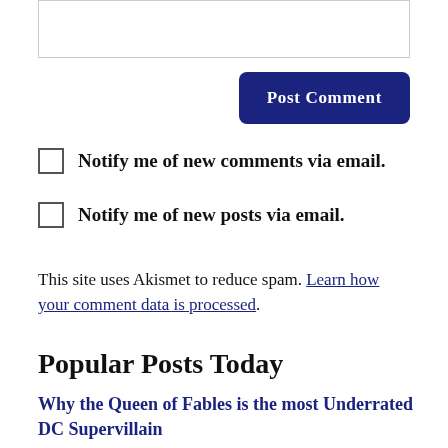[Figure (other): Textarea input box for comment]
[Figure (other): Post Comment button, dark blue with rounded corners]
Notify me of new comments via email.
Notify me of new posts via email.
This site uses Akismet to reduce spam. Learn how your comment data is processed.
Popular Posts Today
Why the Queen of Fables is the most Underrated DC Supervillain
5 Short Stories About Witches (that you can read